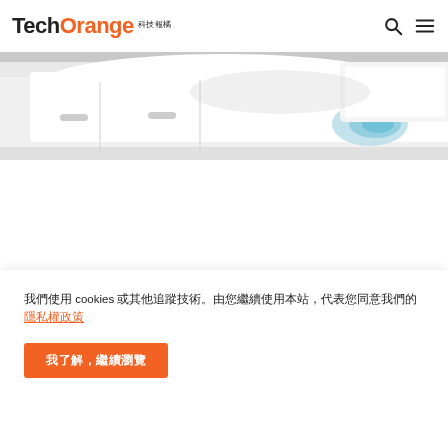TechOrange 科技報橘
[Figure (photo): White cars photographed from close angle, showing hood, door and headlights of white vehicles]
相關文章
我們使用 cookies 或其他追蹤技術。由您繼續使用本站，代表您同意我們的隱私權政策
我了解，繼續瀏覽